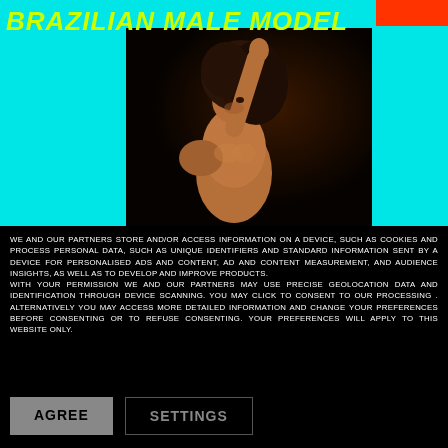BRAZILIAN MALE MODEL
[Figure (photo): Shirtless Brazilian male model with curly hair, arm raised, dark studio background]
WE AND OUR PARTNERS STORE AND/OR ACCESS INFORMATION ON A DEVICE, SUCH AS COOKIES AND PROCESS PERSONAL DATA, SUCH AS UNIQUE IDENTIFIERS AND STANDARD INFORMATION SENT BY A DEVICE FOR PERSONALISED ADS AND CONTENT, AD AND CONTENT MEASUREMENT, AND AUDIENCE INSIGHTS, AS WELL AS TO DEVELOP AND IMPROVE PRODUCTS. WITH YOUR PERMISSION WE AND OUR PARTNERS MAY USE PRECISE GEOLOCATION DATA AND IDENTIFICATION THROUGH DEVICE SCANNING. YOU MAY CLICK TO CONSENT TO OUR PROCESSING . ALTERNATIVELY YOU MAY ACCESS MORE DETAILED INFORMATION AND CHANGE YOUR PREFERENCES BEFORE CONSENTING OR TO REFUSE CONSENTING. YOUR PREFERENCES WILL APPLY TO THIS WEBSITE ONLY.
AGREE
SETTINGS